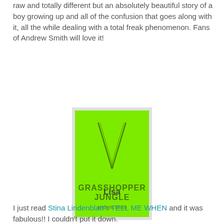raw and totally different but an absolutely beautiful story of a boy growing up and all of the confusion that goes along with it, all the while dealing with a total freak phenomenon. Fans of Andrew Smith will love it!
[Figure (photo): Book cover of 'Grasshopper Jungle' by Andrew Smith. Bright green cover with a large V-shaped design and text reading 'GRASSHOPPER JUNGLE' and 'andrew smith'.]
Lisa
I just read Stina Lindenblatt's TELL ME WHEN and it was fabulous!! I couldn't put it down.